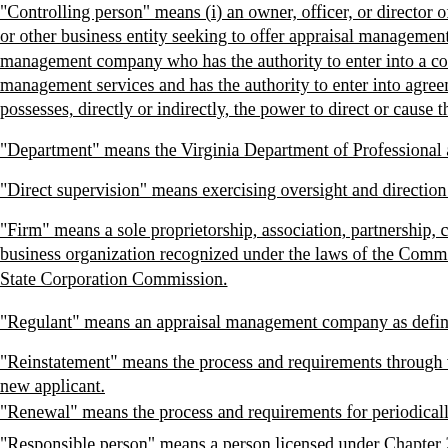"Controlling person" means (i) an owner, officer, or director of a corp or other business entity seeking to offer appraisal management servi management company who has the authority to enter into a contrac management services and has the authority to enter into agreements possesses, directly or indirectly, the power to direct or cause the dire
"Department" means the Virginia Department of Professional and Oc
"Direct supervision" means exercising oversight and direction of, and
"Firm" means a sole proprietorship, association, partnership, corpora business organization recognized under the laws of the Commonwea State Corporation Commission.
"Regulant" means an appraisal management company as defined in §
"Reinstatement" means the process and requirements through which new applicant.
"Renewal" means the process and requirements for periodically appro
"Responsible person" means a person licensed under Chapter 20.1 (§ by each regulant to ensure compliance with Chapter 20.2 (§ 54.1-2020